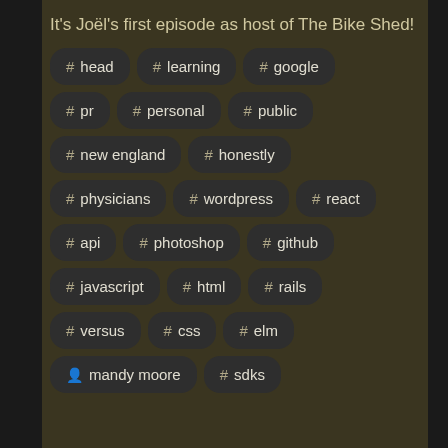It's Joël's first episode as host of The Bike Shed!
# head
# learning
# google
# pr
# personal
# public
# new england
# honestly
# physicians
# wordpress
# react
# api
# photoshop
# github
# javascript
# html
# rails
# versus
# css
# elm
mandy moore
# sdks